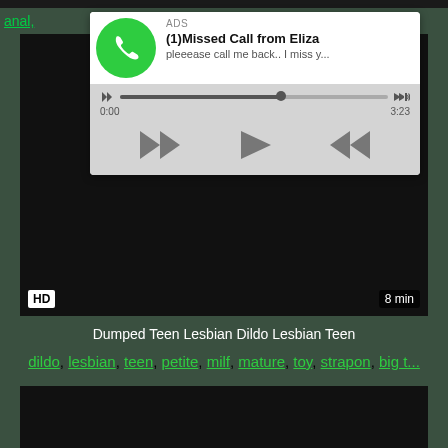[Figure (screenshot): A fake missed call audio player ad overlay showing '(1)Missed Call from Eliza' with a green phone icon, progress bar, and transport controls (rewind, play, fast-forward). Labeled 'ADS' at top. Subtitle: 'pleeease call me back.. I miss y...' Time shown: 0:00 to 3:23.]
[Figure (screenshot): Dark/black video player area with HD badge in lower-left and '8 min' duration badge in lower-right.]
Dumped Teen Lesbian Dildo Lesbian Teen
dildo, lesbian, teen, petite, milf, mature, toy, strapon, big t...
[Figure (screenshot): Second dark/black video player strip at bottom of page, partially visible.]